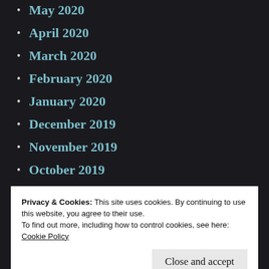May 2020
April 2020
March 2020
February 2020
January 2020
December 2019
November 2019
October 2019
September 2019
August 2019
July 2019
Privacy & Cookies: This site uses cookies. By continuing to use this website, you agree to their use.
To find out more, including how to control cookies, see here:
Cookie Policy
January 2019